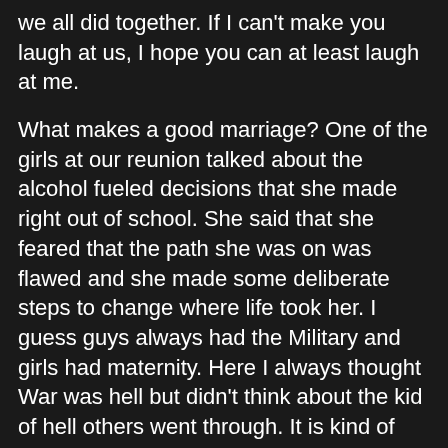we all did together.  If I can't make you laugh at us, I hope you can at least laugh at me.
What makes a good marriage?  One of the girls at our reunion talked about the alcohol fueled decisions that she made right out of school.  She said that she feared that the path she was on was flawed and she made some deliberate steps to change where life took her.  I guess guys always had the Military and girls had maternity.  Here I always thought War was hell but didn't think about the kid of hell others went through.  It is kind of staggering to see the divorce rate of the class of 65.
Yesterday I met the most beautiful German Shepherd dog.  You could tell that she was getting old as she didn't even bark as strangers came to the door.  I wonder how many of us would love to be like that dog and lay on the cool floor and just watch people